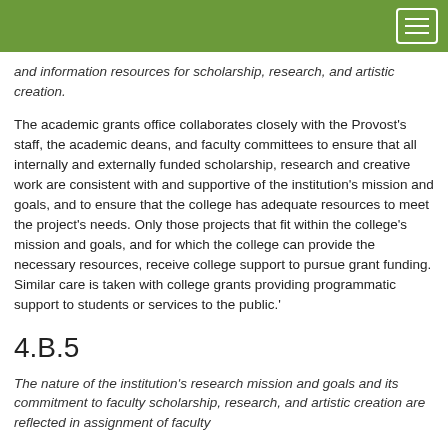and information resources for scholarship, research, and artistic creation.
The academic grants office collaborates closely with the Provost’s staff, the academic deans, and faculty committees to ensure that all internally and externally funded scholarship, research and creative work are consistent with and supportive of the institution’s mission and goals, and to ensure that the college has adequate resources to meet the project’s needs. Only those projects that fit within the college’s mission and goals, and for which the college can provide the necessary resources, receive college support to pursue grant funding. Similar care is taken with college grants providing programmatic support to students or services to the public.’
4.B.5
The nature of the institution’s research mission and goals and its commitment to faculty scholarship, research, and artistic creation are reflected in assignment of faculty